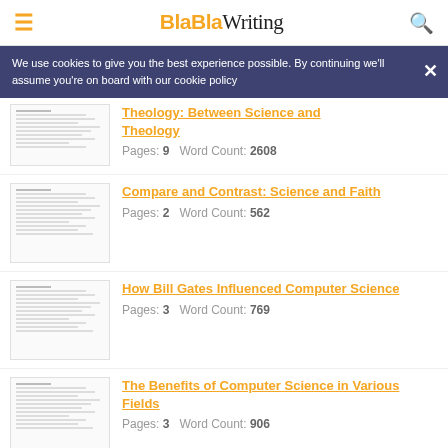BlaBlaWriting
We use cookies to give you the best experience possible. By continuing we'll assume you're on board with our cookie policy
Theology: Between Science and Theology — Pages: 9  Word Count: 2608
Compare and Contrast: Science and Faith — Pages: 2  Word Count: 562
How Bill Gates Influenced Computer Science — Pages: 3  Word Count: 769
The Benefits of Computer Science in Various Fields — Pages: 3  Word Count: 906